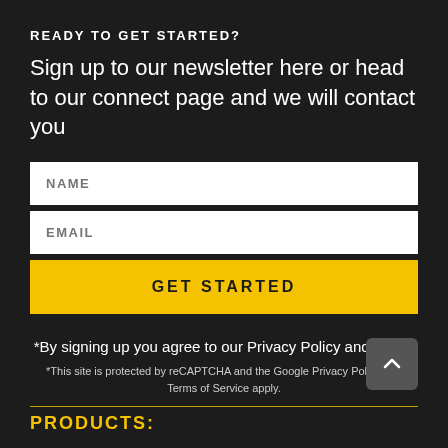READY TO GET STARTED?
Sign up to our newsletter here or head to our connect page and we will contact you
[Figure (other): Web form with NAME input field, EMAIL input field, and GET STARTED yellow button]
*By signing up you agree to our Privacy Policy and Terms
*This site is protected by reCAPTCHA and the Google Privacy Policy and Terms of Service apply.
PRODUCTS: